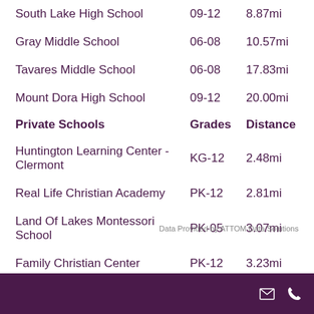South Lake High School   09-12   8.87mi
Gray Middle School   06-08   10.57mi
Tavares Middle School   06-08   17.83mi
Mount Dora High School   09-12   20.00mi
Private Schools   Grades   Distance
Huntington Learning Center - Clermont   KG-12   2.48mi
Real Life Christian Academy   PK-12   2.81mi
Land Of Lakes Montessori School   PK-05   3.07mi
Family Christian Center   PK-12   3.23mi
Dreamplex Therapeutic School   -   3.43mi
Data Provided by ATTOM Data Solutions